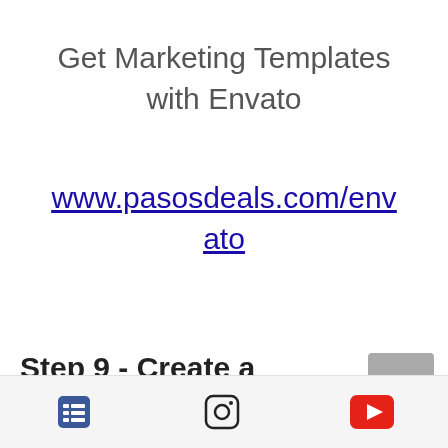Get Marketing Templates with Envato
www.pasosdeals.com/envato
Step 9 - Create a Money Game Plan